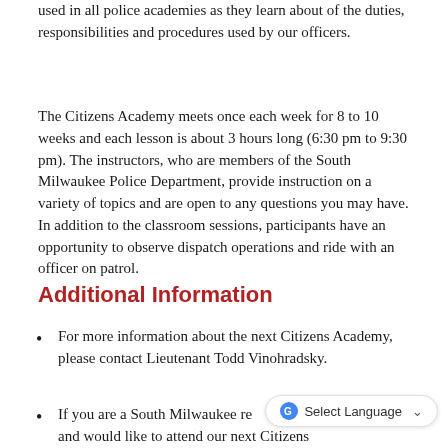used in all police academies as they learn about of the duties, responsibilities and procedures used by our officers.
The Citizens Academy meets once each week for 8 to 10 weeks and each lesson is about 3 hours long (6:30 pm to 9:30 pm). The instructors, who are members of the South Milwaukee Police Department, provide instruction on a variety of topics and are open to any questions you may have. In addition to the classroom sessions, participants have an opportunity to observe dispatch operations and ride with an officer on patrol.
Additional Information
For more information about the next Citizens Academy, please contact Lieutenant Todd Vinohradsky.
If you are a South Milwaukee resident or property owner and would like to attend our next Citizens